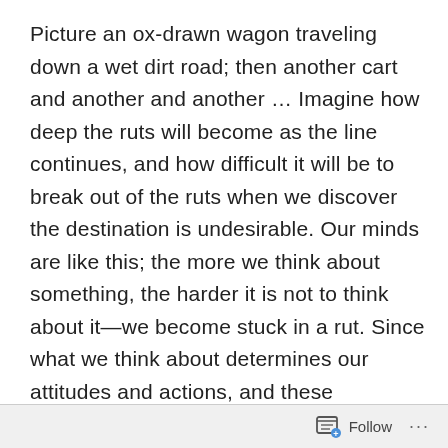Picture an ox-drawn wagon traveling down a wet dirt road; then another cart and another and another … Imagine how deep the ruts will become as the line continues, and how difficult it will be to break out of the ruts when we discover the destination is undesirable. Our minds are like this; the more we think about something, the harder it is not to think about it—we become stuck in a rut. Since what we think about determines our attitudes and actions, and these determine our future, changing ourselves requires that we first change our minds. We can make new mental ruts, that will take us to a new destination, by eagerly considering the future grace Jesus has secured for us. When we do, we'll be able to experientially confirm that God's well-designed way of living is good (will enable us to fulfill our potential as human beings) and will satisfy our
Follow ···